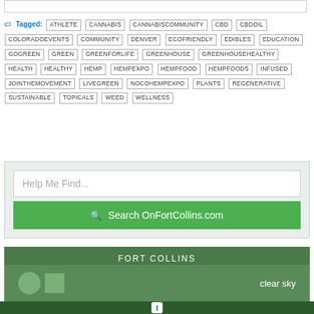Tagged: ATHLETE CANNABIS CANNABISCOMMUNITY CBD CBDOIL COLORADOEVENTS COMMUNITY DENVER ECOFRIENDLY EDIBLES EDUCATION GOGREEN GREEN GREENFORLIFE GREENHOUSE GREENHOUSEHEALTHY HEALTH HEALTHY HEMP HEMPEXPO HEMPFOOD HEMPFOODS INFUSED JOINTHEMOVEMENT LIVEGREEN NOCOHEMPEXPO PLANTS REGENERATIVE SUSTAINABLE TOPICALS WEED WELLNESS
Help Me Find...
Search OnFortCollins.com
FORT COLLINS
clear sky